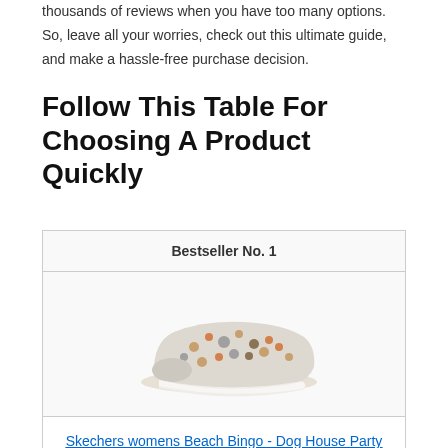thousands of reviews when you have too many options. So, leave all your worries, check out this ultimate guide, and make a hassle-free purchase decision.
Follow This Table For Choosing A Product Quickly
| Bestseller No. 1 |
| --- |
| [shoe image] |
| Skechers womens Beach Bingo - Dog House Party Sneaker, Taupe/Multi, 11 US |
Skechers womens Beach Bingo - Dog House Party Sneaker, Taupe/Multi, 11 US